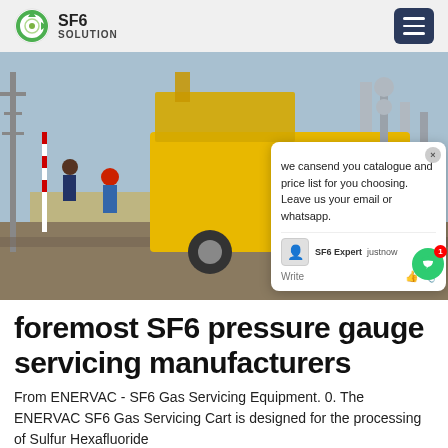SF6 SOLUTION
[Figure (photo): Yellow ISUZU truck at an electrical substation with workers, chat popup overlay showing message about catalogue and price list]
foremost SF6 pressure gauge servicing manufacturers
From ENERVAC - SF6 Gas Servicing Equipment. 0. The ENERVAC SF6 Gas Servicing Cart is designed for the processing of Sulfur Hexafluoride